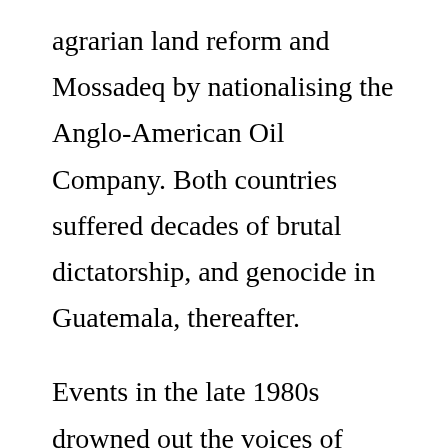agrarian land reform and Mossadeq by nationalising the Anglo-American Oil Company. Both countries suffered decades of brutal dictatorship, and genocide in Guatemala, thereafter.
Events in the late 1980s drowned out the voices of those who advocated, not socialism, but a global order, dedicated to more just relations between rich industrial and poor countries to assist in eliminating poverty. The triumph of the market after the fall of the